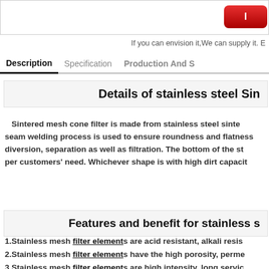If you can envision it,We can supply it.
Description | Specification | Production And S
Details of stainless steel Sin
Sintered mesh cone filter is made from stainless steel sintered mesh. The seam welding process is used to ensure roundness and flatness. It can be used for diversion, separation as well as filtration. The bottom of the st... per customers' need. Whichever shape is with high dirt capacit...
Features and benefit for stainless s
1.Stainless mesh filter elements are acid resistant, alkali resis...
2.Stainless mesh filter elements have the high porosity, perme...
3.Stainless mesh filter elements are high intensity, long servic...
Applications for stainless steel